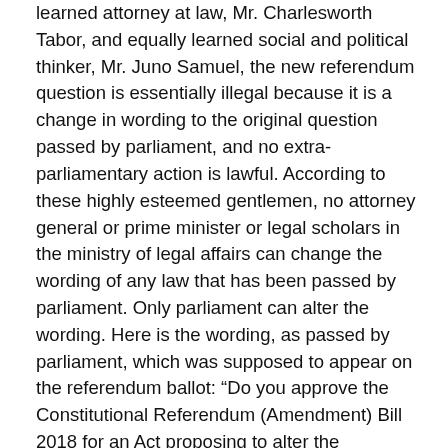learned attorney at law, Mr. Charlesworth Tabor, and equally learned social and political thinker, Mr. Juno Samuel, the new referendum question is essentially illegal because it is a change in wording to the original question passed by parliament, and no extra-parliamentary action is lawful. According to these highly esteemed gentlemen, no attorney general or prime minister or legal scholars in the ministry of legal affairs can change the wording of any law that has been passed by parliament. Only parliament can alter the wording. Here is the wording, as passed by parliament, which was supposed to appear on the referendum ballot: “Do you approve the Constitutional Referendum (Amendment) Bill 2018 for an Act proposing to alter the Constitution of Antigua and Barbuda?” Not surprisingly, as in everything having to do with this referendum, there were many who thought that that question was too broad, and ambiguous, and it could be misconstrued. Many thought that it needed to be more specific. According to Attorney Tabor, in not so many words, a